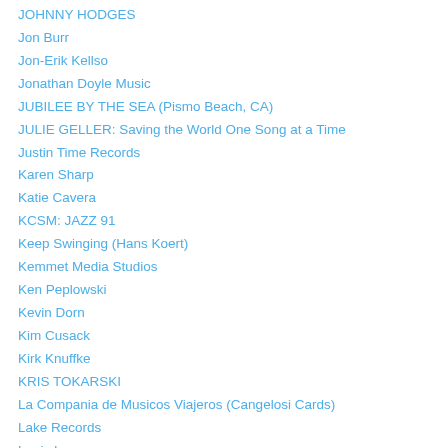JOHNNY HODGES
Jon Burr
Jon-Erik Kellso
Jonathan Doyle Music
JUBILEE BY THE SEA (Pismo Beach, CA)
JULIE GELLER: Saving the World One Song at a Time
Justin Time Records
Karen Sharp
Katie Cavera
KCSM: JAZZ 91
Keep Swinging (Hans Koert)
Kemmet Media Studios
Ken Peplowski
Kevin Dorn
Kim Cusack
Kirk Knuffke
KRIS TOKARSKI
La Compania de Musicos Viajeros (Cangelosi Cards)
Lake Records
Lapis Luna